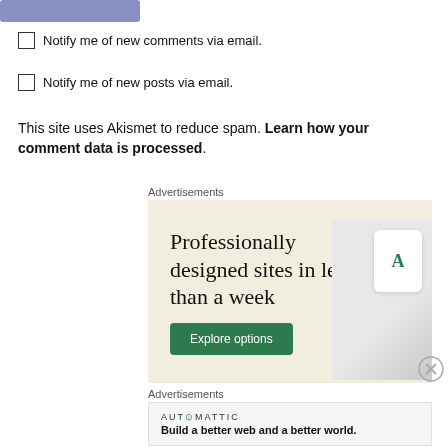[Figure (other): Partially visible blue/purple 'Post Comment' button at top of page]
Notify me of new comments via email.
Notify me of new posts via email.
This site uses Akismet to reduce spam. Learn how your comment data is processed.
Advertisements
[Figure (illustration): Advertisement banner with beige background showing text 'Professionally designed sites in less than a week' with a green 'Explore options' button and device mockup images on the right]
Advertisements
[Figure (logo): Automattic advertisement: logo reading 'AUTOMATTIC' and tagline 'Build a better web and a better world.']